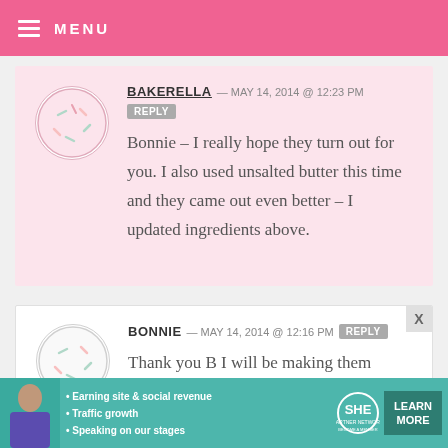MENU
BAKERELLA — MAY 14, 2014 @ 12:23 PM REPLY
Bonnie – I really hope they turn out for you. I also used unsalted butter this time and they came out even better – I updated ingredients above.
BONNIE — MAY 14, 2014 @ 12:16 PM REPLY
Thank you B I will be making them again today....no browned butter
[Figure (infographic): SHE Partner Network advertisement banner with woman photo, bullet points about earning site & social revenue, traffic growth, speaking on stages, and a Learn More button]